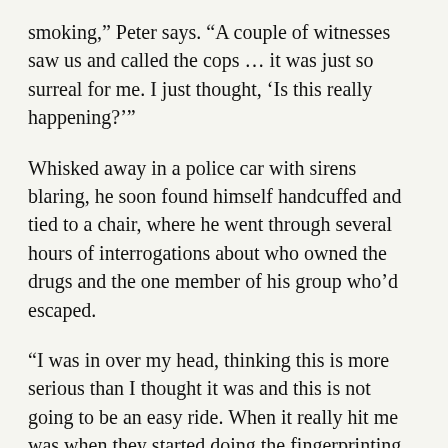smoking,” Peter says. “A couple of witnesses saw us and called the cops … it was just so surreal for me. I just thought, ‘Is this really happening?’”
Whisked away in a police car with sirens blaring, he soon found himself handcuffed and tied to a chair, where he went through several hours of interrogations about who owned the drugs and the one member of his group who’d escaped.
“I was in over my head, thinking this is more serious than I thought it was and this is not going to be an easy ride. When it really hit me was when they started doing the fingerprinting, because that was a precursor to going into a police holding cell,” he said.
For the next 10 days, Peter lived a highly regimented prison life. English was not allowed — he passed the